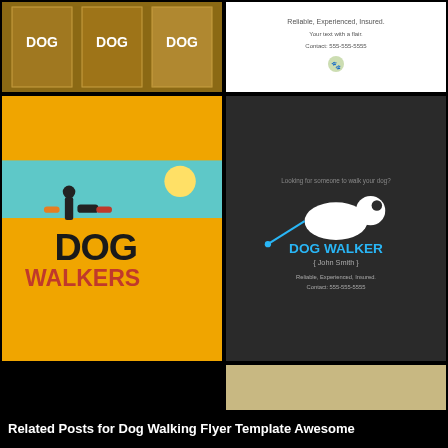[Figure (photo): Dog walking flyer thumbnails - top row partial, showing orange/brown multi-flyer design on left and white dog walker business card on right]
[Figure (photo): Yellow/orange Dog Walkers flyer with silhouette of person walking multiple dogs, showing multiple copies fanned out]
[Figure (photo): Dark gray Dog Walker flyer with white dog silhouette on leash, text: DOG WALKER (John Smith), Reliable, Experienced, Insured, Contact: 555-555-5555]
[Figure (photo): Teal/cyan banner reading THE DOG... (text cut off), with dachshund silhouette and circular logo]
[Figure (photo): Two Dog Walker flyers side by side with photo of labrador retriever, text: dog Walker with paw print, tear-off tabs at bottom]
[Figure (photo): Mel's Dog Walking Service flyer, black and white with silhouette of woman walking a dog, lists services and contact info]
[Figure (photo): Purple/lavender flyer with cartoon dog illustration, text: Does your dog need more exercise?, tear-off tabs at bottom]
Related Posts for Dog Walking Flyer Template Awesome